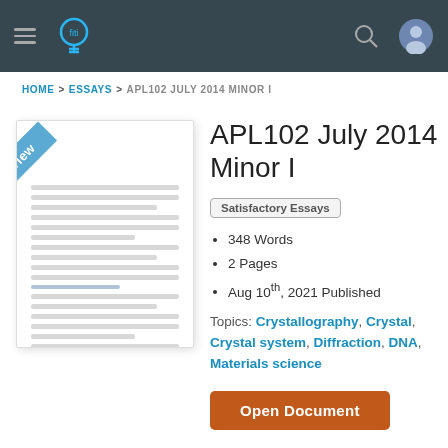[Figure (screenshot): Top navigation bar with hamburger menu, lightbulb logo, search icon, and user profile icon on dark background]
HOME > ESSAYS > APL102 JULY 2014 MINOR I
[Figure (illustration): Preview thumbnail of a document page with a blue diagonal 'Preview' banner in the top-left corner and gray placeholder text lines]
APL102 July 2014 Minor I
Satisfactory Essays
348 Words
2 Pages
Aug 10th, 2021 Published
Topics: Crystallography, Crystal, Crystal system, Diffraction, DNA, Materials science
Open Document